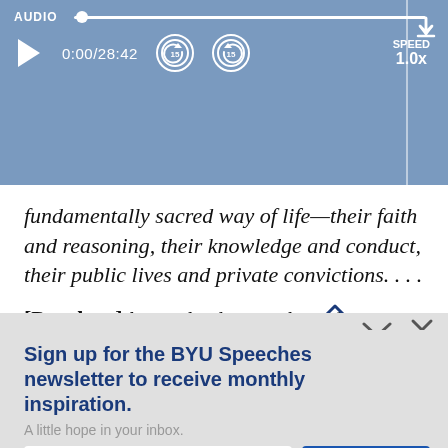[Figure (screenshot): Audio player bar with progress track, play button, time 0:00/28:42, skip back/forward 15s buttons, speed 1.0x, and download icon. Blue/steel background.]
fundamentally sacred way of life—their faith and reasoning, their knowledge and conduct, their public lives and private convictions. . . .
[Prophets] have also known that education p… vital role in realizing the promise of the…
Sign up for the BYU Speeches newsletter to receive monthly inspiration.
A little hope in your inbox.
Enter your email
SUBSCRIBE